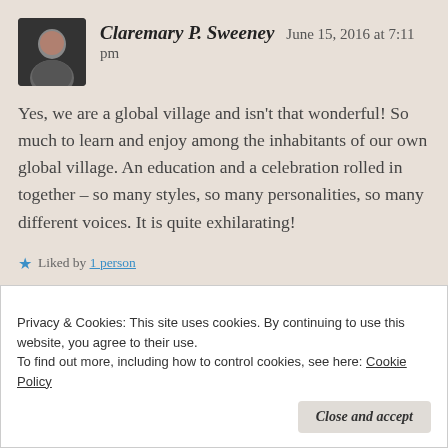Claremary P. Sweeney  June 15, 2016 at 7:11 pm
Yes, we are a global village and isn't that wonderful! So much to learn and enjoy among the inhabitants of our own global village. An education and a celebration rolled in together – so many styles, so many personalities, so many different voices. It is quite exhilarating!
★ Liked by 1 person
Privacy & Cookies: This site uses cookies. By continuing to use this website, you agree to their use.
To find out more, including how to control cookies, see here: Cookie Policy
Close and accept